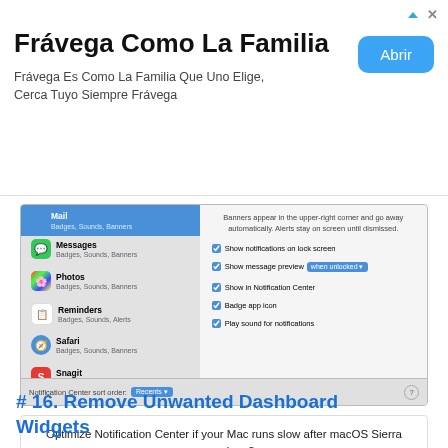[Figure (screenshot): Advertisement banner for Frávega Como La Familia with an Abrir button]
[Figure (screenshot): macOS Notification Center settings panel showing Mail selected with Badges, Sounds, Banners, and options for Show notifications on lock screen, Show message preview when unlocked, Show in Notification Center, Badge app icon, Play sound for notifications, and Notification Center sort order: Recents]
Optimize Notification Center if your Mac runs slow after macOS Sierra upgrade – 3
# 16. Remove Unwanted Dashboard Widgets